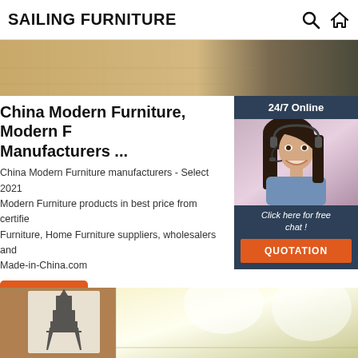SAILING FURNITURE
[Figure (photo): Hero banner image showing a wooden floor with a dark rug, partial interior furniture scene]
China Modern Furniture, Modern F Manufacturers ...
China Modern Furniture manufacturers - Select 2021 Modern Furniture products in best price from certifie Furniture, Home Furniture suppliers, wholesalers and Made-in-China.com
[Figure (photo): Chat widget sidebar showing a woman with headset smiling, 24/7 Online support banner, 'Click here for free chat!' text, and QUOTATION button]
Get Price
[Figure (photo): Bottom image strip showing furniture room with Eiffel tower wall art on left and bright spotlit room on right]